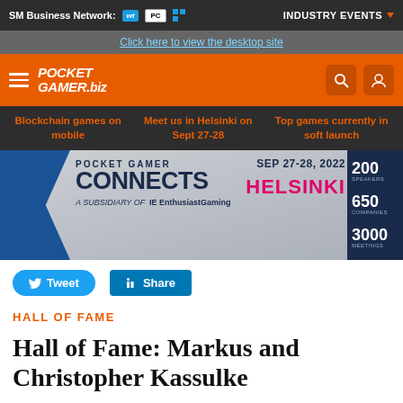SM Business Network: [logos] INDUSTRY EVENTS
Click here to view the desktop site
[Figure (logo): PocketGamer.biz logo on orange header bar with hamburger menu, search icon, and user icon]
Blockchain games on mobile | Meet us in Helsinki on Sept 27-28 | Top games currently in soft launch
[Figure (infographic): Pocket Gamer Connects Helsinki banner: SEP 27-28, 2022. 200 SPEAKERS, 650 COMPANIES, 3000 MEETINGS. A Subsidiary of EnthusiastGaming.]
Tweet  Share
HALL OF FAME
Hall of Fame: Markus and Christopher Kassulke